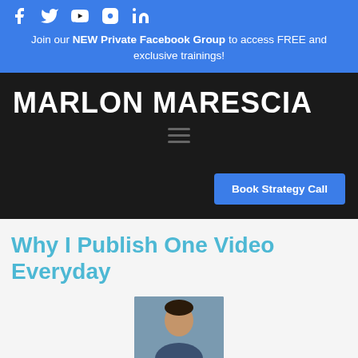[Figure (other): Social media icons: Facebook, Twitter, YouTube, Instagram, LinkedIn]
Join our NEW Private Facebook Group to access FREE and exclusive trainings!
MARLON MARESCIA
[Figure (other): Hamburger menu icon (three horizontal lines)]
Book Strategy Call
Why I Publish One Video Everyday
[Figure (photo): Headshot photo of a man from shoulders up, against a dark background]